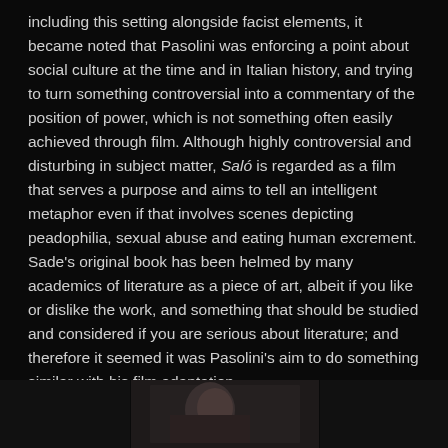including this setting alongside facist elements, it became noted that Pasolini was enforcing a point about social culture at the time and in Italian history, and trying to turn something controversial into a commentary of the position of power, which is not something often easily achieved through film. Although highly controversial and disturbing in subject matter, Saló is regarded as a film that serves a purpose and aims to tell an intelligent metaphor even if that involves scenes depicting peadophilia, sexual abuse and eating human excrement. Sade's original book has been helmed by many academics of literature as a piece of art, albeit if you like or dislike the work, and something that should be studied and considered if you are serious about literature; and therefore it seemed it was Pasolini's aim to do something similar with his film adaptation.
[Figure (photo): Partial view of a dark photograph at the bottom of the page, showing a scene from the film with dark tones.]